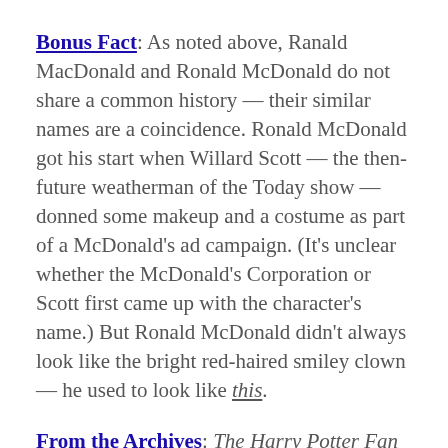Bonus Fact: As noted above, Ranald MacDonald and Ronald McDonald do not share a common history — their similar names are a coincidence. Ronald McDonald got his start when Willard Scott — the then-future weatherman of the Today show — donned some makeup and a costume as part of a McDonald's ad campaign. (It's unclear whether the McDonald's Corporation or Scott first came up with the character's name.) But Ronald McDonald didn't always look like the bright red-haired smiley clown — he used to look like this.
From the Archives: The Harry Potter Fan Who Was Worthy of Gryffindor: A sad but touching story of another McDonald. Take the Quiz: What languages do these English words come from?